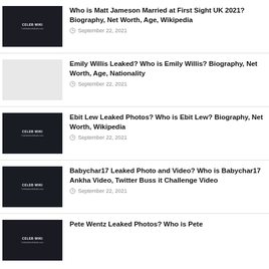Who is Matt Jameson Married at First Sight UK 2021? Biography, Net Worth, Age, Wikipedia — September 22, 2021
Emily Willis Leaked? Who is Emily Willis? Biography, Net Worth, Age, Nationality — September 22, 2021
Ebit Lew Leaked Photos? Who is Ebit Lew? Biography, Net Worth, Wikipedia — September 22, 2021
Babychar17 Leaked Photo and Video? Who is Babychar17 Ankha Video, Twitter Buss it Challenge Video — September 22, 2021
Pete Wentz Leaked Photos? Who is Pete…